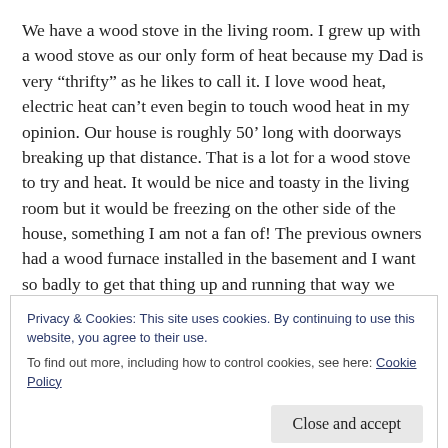We have a wood stove in the living room. I grew up with a wood stove as our only form of heat because my Dad is very “thrifty” as he likes to call it. I love wood heat, electric heat can’t even begin to touch wood heat in my opinion. Our house is roughly 50’ long with doorways breaking up that distance. That is a lot for a wood stove to try and heat. It would be nice and toasty in the living room but it would be freezing on the other side of the house, something I am not a fan of! The previous owners had a wood furnace installed in the basement and I want so badly to get that thing up and running that way we
Privacy & Cookies: This site uses cookies. By continuing to use this website, you agree to their use.
To find out more, including how to control cookies, see here: Cookie Policy
used in awhile we want it to get professionally